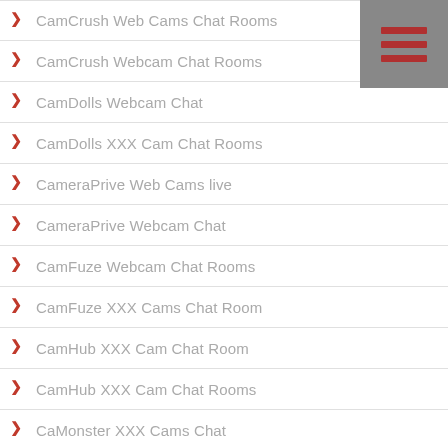CamCrush Web Cams Chat Rooms
CamCrush Webcam Chat Rooms
CamDolls Webcam Chat
CamDolls XXX Cam Chat Rooms
CameraPrive Web Cams live
CameraPrive Webcam Chat
CamFuze Webcam Chat Rooms
CamFuze XXX Cams Chat Room
CamHub XXX Cam Chat Room
CamHub XXX Cam Chat Rooms
CaMonster XXX Cams Chat
CamRabbit Webcam Chat Room